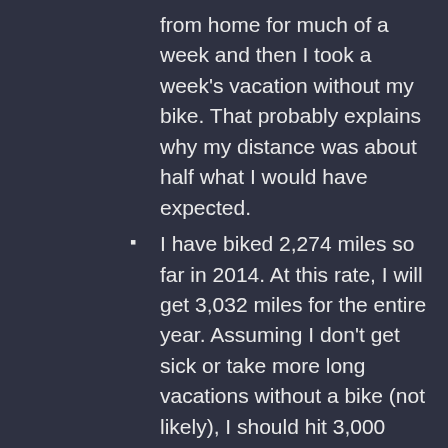from home for much of a week and then I took a week's vacation without my bike. That probably explains why my distance was about half what I would have expected.
I have biked 2,274 miles so far in 2014. At this rate, I will get 3,032 miles for the entire year. Assuming I don't get sick or take more long vacations without a bike (not likely), I should hit 3,000 miles.
I didn't even take many pictures on my bike rides in September. Here are the only two I took on a bike ride, one from